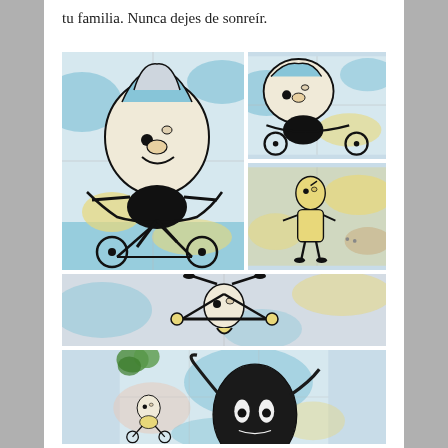tu familia. Nunca dejes de sonreír.
[Figure (photo): Street mural on a tiled wall showing a cartoon character with a large head riding a bicycle, with blue, yellow, and beige color blobs in the background.]
[Figure (photo): Close-up of a cartoon figure on a bicycle, detail from the mural, showing the head and handlebars.]
[Figure (photo): Detail of the mural showing a small yellow cartoon figure standing and looking up.]
[Figure (photo): Detail of the mural showing a cartoon character doing a handstand or acrobatic pose.]
[Figure (photo): Bottom mural panel showing another cartoon character with a large black oval face, with tree foliage visible at top left.]